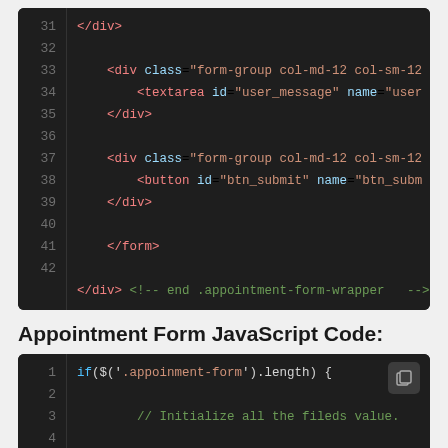[Figure (screenshot): Code editor screenshot showing HTML code lines 31-42 with dark background. Lines show closing div tags, textarea element with id=user_message, button element with id=btn_submit, closing form tag, and closing div with comment end .appointment-form-wrapper]
Appointment Form JavaScript Code:
[Figure (screenshot): Code editor screenshot showing JavaScript code lines 1-7. Line 1: if($('.appoinment-form').length) {, Line 3: // Initialize all the fileds value., Line 5: var $appt_form = $('.appoinment-form..., Line 6: $appt_form.find('input,textarea,sele...]